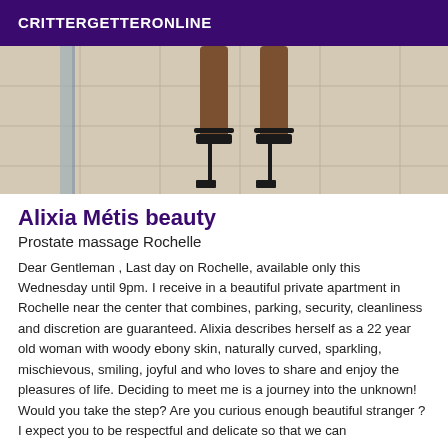CRITTERGETTERONLINE
[Figure (photo): Photo showing woman's legs in black high heels standing on a tiled floor near a glass partition.]
Alixia Métis beauty
Prostate massage Rochelle
Dear Gentleman , Last day on Rochelle, available only this Wednesday until 9pm. I receive in a beautiful private apartment in Rochelle near the center that combines, parking, security, cleanliness and discretion are guaranteed. Alixia describes herself as a 22 year old woman with woody ebony skin, naturally curved, sparkling, mischievous, smiling, joyful and who loves to share and enjoy the pleasures of life. Deciding to meet me is a journey into the unknown! Would you take the step? Are you curious enough beautiful stranger ? I expect you to be respectful and delicate so that we can